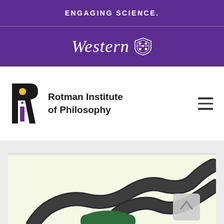ENGAGING SCIENCE.
[Figure (logo): Western University logo with shield icon and italic text 'Western']
[Figure (logo): Rotman Institute of Philosophy logo with stylized R icon in black, yellow and purple, alongside text 'Rotman Institute of Philosophy']
[Figure (illustration): Partial illustration showing a cartoon snake/serpent character with dark color on light green background, bottom portion of image visible]